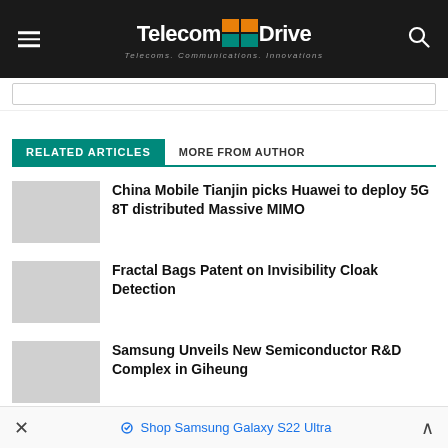TelecomDrive — Telecoms. Communications. Innovations.
RELATED ARTICLES | MORE FROM AUTHOR
China Mobile Tianjin picks Huawei to deploy 5G 8T distributed Massive MIMO
Fractal Bags Patent on Invisibility Cloak Detection
Samsung Unveils New Semiconductor R&D Complex in Giheung
Shop Samsung Galaxy S22 Ultra